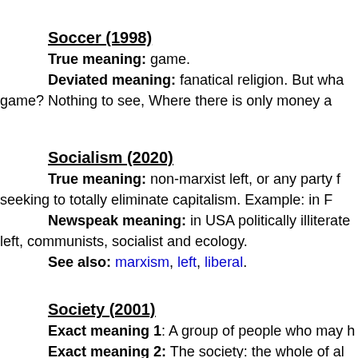Soccer (1998)
True meaning: game.
Deviated meaning: fanatical religion. But wha game? Nothing to see, Where there is only money a
Socialism (2020)
True meaning: non-marxist left, or any party f seeking to totally eliminate capitalism. Example: in F
Newspeak meaning: in USA politically illiterate left, communists, socialist and ecology.
See also: marxism, left, liberal.
Society (2001)
Exact meaning 1: A group of people who may h
Exact meaning 2: The society: the whole of al them.
Newspeak meaning: THE SOCIETY as a se